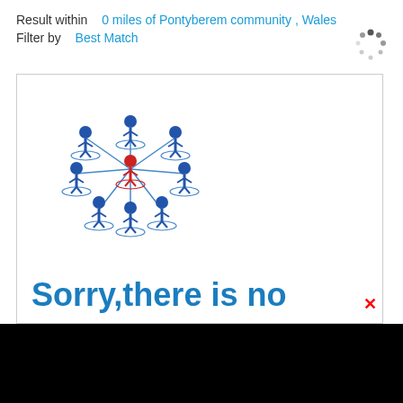Result within   0 miles of Pontyberem community , Wales
Filter by   Best Match
[Figure (illustration): Network/community diagram showing a central red human figure connected to multiple blue human figures arranged in a network pattern with circular bases]
Sorry,there is no